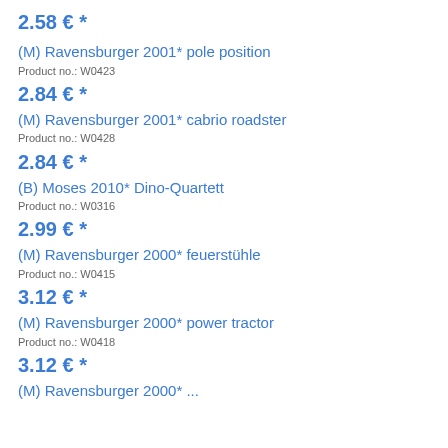2.58 € *
(M) Ravensburger 2001* pole position
Product no.: W0423
2.84 € *
(M) Ravensburger 2001* cabrio roadster
Product no.: W0428
2.84 € *
(B) Moses 2010* Dino-Quartett
Product no.: W0316
2.99 € *
(M) Ravensburger 2000* feuerstühle
Product no.: W0415
3.12 € *
(M) Ravensburger 2000* power tractor
Product no.: W0418
3.12 € *
(M) Ravensburger 2000* ...